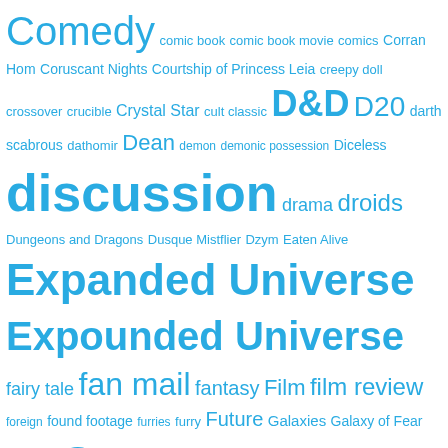[Figure (infographic): Tag cloud with various topics related to sci-fi, gaming, horror, and podcasting. Tags rendered in cyan/teal color at varying font sizes indicating frequency/popularity. Tags include: Comedy, comic book, comic book movie, comics, Corran, Hom, Coruscant Nights, Courtship of Princess Leia, creepy doll, crossover, crucible, Crystal Star, cult classic, D&D, D20, darth scabrous, dathomir, Dean, demon, demonic possession, Diceless, discussion, drama, droids, Dungeons and Dragons, Dusque Mistflier, Dzym, Eaten Alive, Expanded Universe, Expounded Universe, fairy tale, fan mail, fantasy, Film, film review, foreign, found footage, furries, furry, Future, Galaxies, Galaxy of Fear, game, Games, gaming, Gamma World, ghost, ghosts, Gods, Halloween, Han, han solo, Hapes, haunted house, haunting, Heartbreaker, hestizo, holiday, horror, Horror Movie, Horror RPG, Horrortoberfest, horrotoberfest, I Jedi, infection, internet, Isolder, James D'Amato, Jedi Search, L. Neil Smith, Lando Calrissian, LARP, Leia, licensed games, listener mail, Live Action Roleplaying, Lockdown, low budget, Luke, magic, marvel, Maul, meta, Mindharp of Sharu, MMO, monster, Movie Mastery, movie review, musical, mystery, Netflix, New Age, New Jedi Order, Nightcrawler, OGL, old republic, Palladium, Palladium Games, Picard, Planet of Twilight, podcast, possession, post-apocalypse, post apocalypse, Prequel Era, Prison, racism, really bad, red harvest, remake, revenge, review, Rifts, Role-playing]